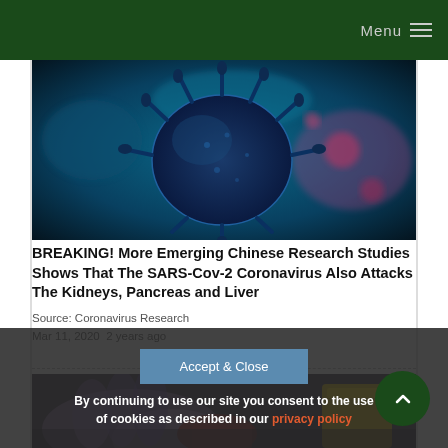Menu
[Figure (photo): Close-up microscopic image of a coronavirus/SARS-CoV-2 virus particle with spike proteins visible, shown in blue and dark tones against a blurred background]
BREAKING! More Emerging Chinese Research Studies Shows That The SARS-Cov-2 Coronavirus Also Attacks The Kidneys, Pancreas and Liver
Source: Coronavirus Research
Mar 11, 2020  2 years ago
[Figure (photo): Partial view of a medical/laboratory scene showing gloved hands handling a blood sample or medical specimen, with a yellow sharps container visible]
By continuing to use our site you consent to the use of cookies as described in our privacy policy